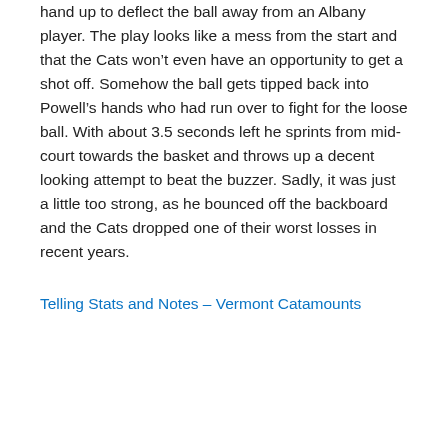hand up to deflect the ball away from an Albany player. The play looks like a mess from the start and that the Cats won’t even have an opportunity to get a shot off. Somehow the ball gets tipped back into Powell’s hands who had run over to fight for the loose ball. With about 3.5 seconds left he sprints from mid-court towards the basket and throws up a decent looking attempt to beat the buzzer. Sadly, it was just a little too strong, as he bounced off the backboard and the Cats dropped one of their worst losses in recent years.
Telling Stats and Notes – Vermont Catamounts